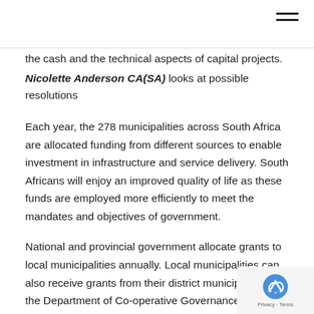the cash and the technical aspects of capital projects.
Nicolette Anderson CA(SA) looks at possible resolutions
Each year, the 278 municipalities across South Africa are allocated funding from different sources to enable investment in infrastructure and service delivery. South Africans will enjoy an improved quality of life as these funds are employed more efficiently to meet the mandates and objectives of government.
National and provincial government allocate grants to local municipalities annually. Local municipalities can also receive grants from their district municipalities, the Department of Co-operative Governance and Traditional Affairs (CoG… even private donors.